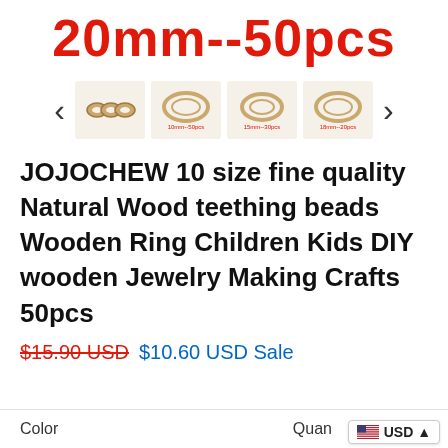20mm--50pcs
[Figure (photo): Gallery row with left/right navigation arrows and 4 thumbnail images of wooden ring beads in different sizes]
JOJOCHEW 10 size fine quality Natural Wood teething beads Wooden Ring Children Kids DIY wooden Jewelry Making Crafts 50pcs
$15.90 USD  $10.60 USD Sale
Color    Quan
[Figure (other): USD currency selector badge with US flag]